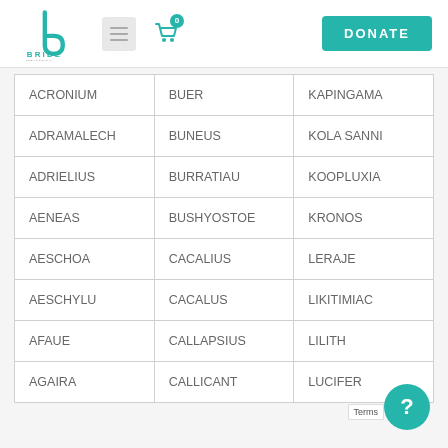[Figure (logo): Bride Ministries International logo with teal stylized 'b' and text]
| ACRONIUM | BUER | KAPINGAMA |
| ADRAMALECH | BUNEUS | KOLA SANNI |
| ADRIELIUS | BURRATIAU | KOOPLUXIA |
| AENEAS | BUSHYOSTOE | KRONOS |
| AESCHOA | CACALIUS | LERAJE |
| AESCHYLU | CACALUS | LIKITIMIAC |
| AFAUE | CALLAPSIUS | LILITH |
| AGAIRA | CALLICANT | LUCIFER |